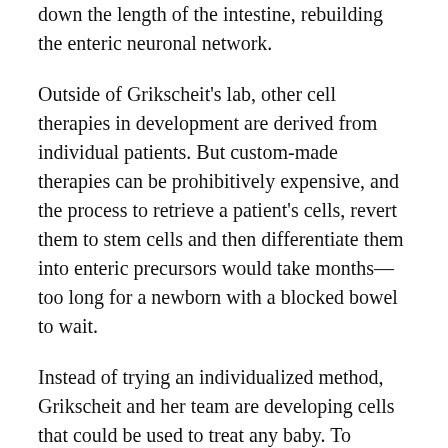down the length of the intestine, rebuilding the enteric neuronal network.
Outside of Grikscheit's lab, other cell therapies in development are derived from individual patients. But custom-made therapies can be prohibitively expensive, and the process to retrieve a patient's cells, revert them to stem cells and then differentiate them into enteric precursors would take months—too long for a newborn with a blocked bowel to wait.
Instead of trying an individualized method, Grikscheit and her team are developing cells that could be used to treat any baby. To develop the therapy, called advanced stem cell enteric neuropathy therapy (ASCENT), Grikscheit received a grant last year for $51 million from the California